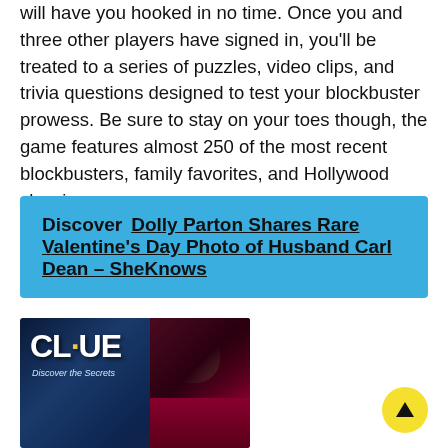will have you hooked in no time. Once you and three other players have signed in, you'll be treated to a series of puzzles, video clips, and trivia questions designed to test your blockbuster prowess. Be sure to stay on your toes though, the game features almost 250 of the most recent blockbusters, family favorites, and Hollywood classics.
Discover  Dolly Parton Shares Rare Valentine's Day Photo of Husband Carl Dean – SheKnows
[Figure (photo): Clue board game box showing the Clue logo with 'Discover the Secrets' tagline and a woman with red hair and red lips on the right side]